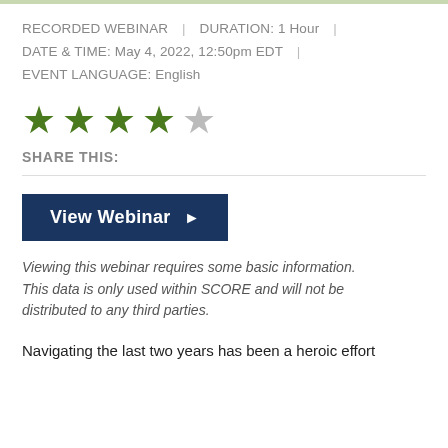RECORDED WEBINAR | DURATION: 1 Hour | DATE & TIME: May 4, 2022, 12:50pm EDT | EVENT LANGUAGE: English
[Figure (other): 4 out of 5 stars rating: four filled green stars and one empty grey star]
SHARE THIS:
[Figure (other): View Webinar button with right-pointing arrow, dark navy background]
Viewing this webinar requires some basic information. This data is only used within SCORE and will not be distributed to any third parties.
Navigating the last two years has been a heroic effort